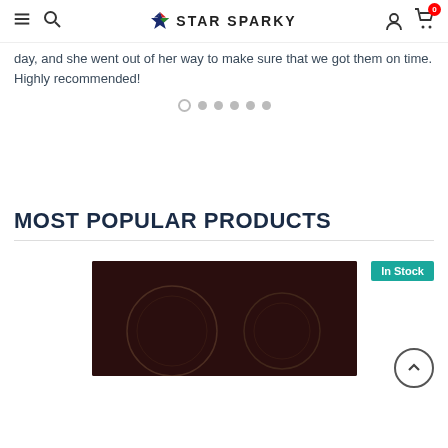STAR SPARKY — navigation bar with hamburger, search, logo, user icon, cart (0)
day, and she went out of her way to make sure that we got them on time. Highly recommended!
[Figure (other): Carousel pagination dots — one open circle and five filled grey dots]
[Figure (other): Scroll-to-top button — circle with upward chevron]
MOST POPULAR PRODUCTS
[Figure (photo): Dark ceramic cooktop with two large circular burner rings, shown with an In Stock badge]